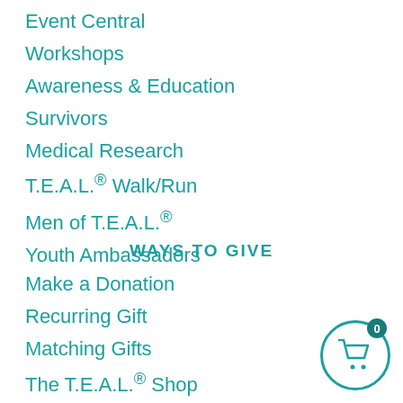Event Central
Workshops
Awareness & Education
Survivors
Medical Research
T.E.A.L.® Walk/Run
Men of T.E.A.L.®
Youth Ambassadors
WAYS TO GIVE
Make a Donation
Recurring Gift
Matching Gifts
The T.E.A.L.® Shop
Amazon Smiles
[Figure (infographic): Shopping cart icon inside a circular border with a badge showing the number 0]